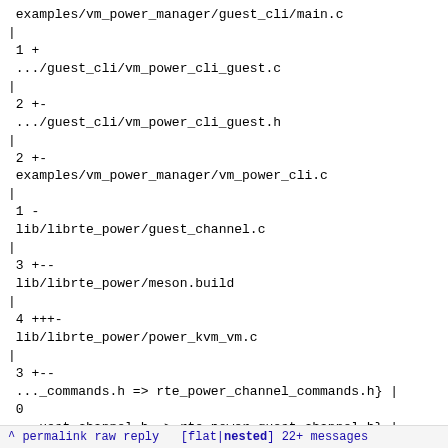examples/vm_power_manager/guest_cli/main.c                 |
1 +
.../guest_cli/vm_power_cli_guest.c                         |
2 +-
.../guest_cli/vm_power_cli_guest.h                         |
2 +-
examples/vm_power_manager/vm_power_cli.c                   |
1 -
lib/librte_power/guest_channel.c                           |
3 +--
lib/librte_power/meson.build                               |
4 +++-
lib/librte_power/power_kvm_vm.c                            |
3 +--
..._commands.h => rte_power_channel_commands.h} |
0
...uest_channel.h => rte_power_guest_channel.h} |
2 +-
 14 files changed, 29 insertions(+), 22 deletions(-)
 rename lib/librte_power/{channel_commands.h => rte_power_channel_commands.h} (100%)
 rename lib/librte_power/{guest_channel.h => rte_power_guest_channel.h} (98%)

--
2.25.1
^ permalink raw reply   [flat|nested] 22+ messages